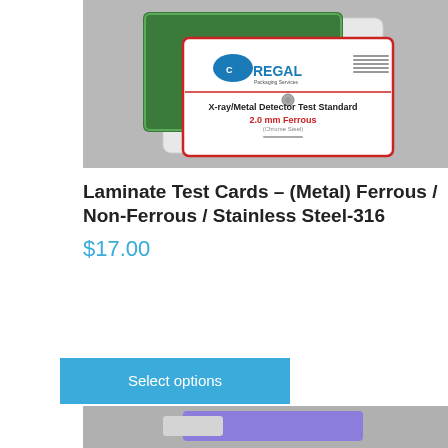[Figure (photo): Photo of Regal Packaging Services Laminate Test Card showing X-ray/Metal Detector Test Standard 2.0 mm Ferrous (Chrome Steel) card in a plastic sleeve]
Laminate Test Cards – (Metal) Ferrous / Non-Ferrous / Stainless Steel-316
$17.00
Select options
[Figure (photo): Partial bottom product image]